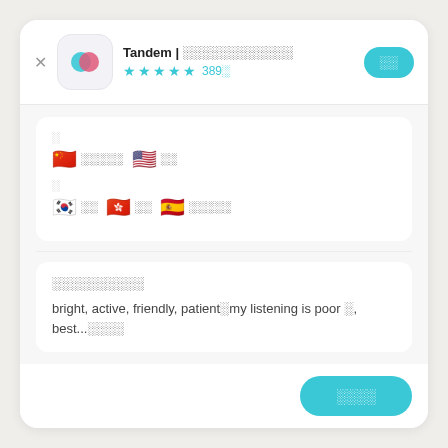Tandem | ░░░░░░░░░░░░
★★★★½ 389░
░
🇨🇳 ░░░░░  🇺🇸 ░░
░
🇰🇷 ░░  🇭🇰 ░░  🇪🇸 ░░░░░
░░░░░░░░░░
bright, active, friendly, patient░my listening is poor ░, best...░░░░
░░░░